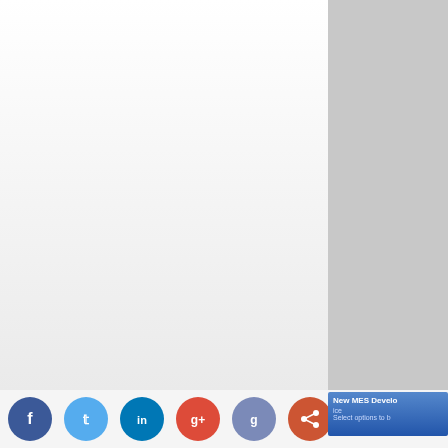[Figure (screenshot): Screenshot of a software configuration dialog panel (partially visible, right side). Shows fields: Service Label, Service Description, Service Version. Below is a 'Service Type' section with radio buttons: Service (selected), Adapter. A greyed checkbox row 'The Adapter...' is shown. A help icon (?) appears at the bottom of the panel.]
[Figure (screenshot): Bottom bar with social media share icons: Facebook (dark blue), Twitter (light blue), LinkedIn (teal), Google+ (red), Google (purple/blue), Share/Krossover (orange). A partially visible popup tooltip 'New MES Developer' with text 'Select options to b...' overlaps the last icons.]